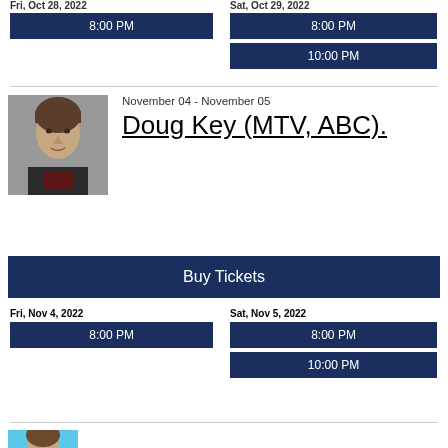Fri, Oct 28, 2022
8:00 PM
Sat, Oct 29, 2022
8:00 PM
10:00 PM
[Figure (photo): Headshot of comedian Doug Key wearing a dark t-shirt]
November 04 - November 05
Doug Key (MTV, ABC).
Buy Tickets
Fri, Nov 4, 2022
8:00 PM
Sat, Nov 5, 2022
8:00 PM
10:00 PM
[Figure (photo): Partial headshot of next comedian at bottom of page]